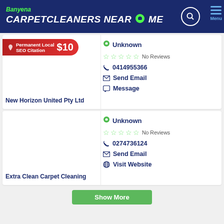Banyena CARPETCLEANERS NEAR ME
[Figure (screenshot): SEO citation banner: Permanent Local SEO Citation $10]
Unknown
No Reviews
0414955366
Send Email
Message
New Horizon United Pty Ltd
Unknown
No Reviews
0274736124
Send Email
Visit Website
Extra Clean Carpet Cleaning
Show More